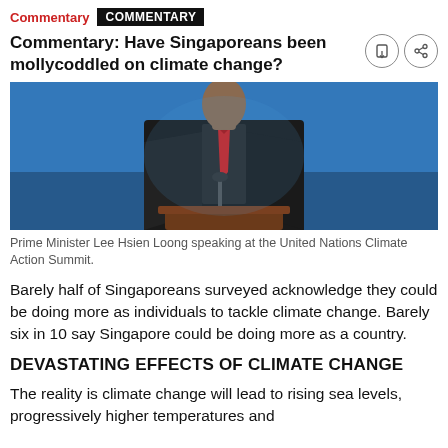Commentary  COMMENTARY
Commentary: Have Singaporeans been mollycoddled on climate change?
[Figure (photo): Prime Minister Lee Hsien Loong standing at a podium/lectern wearing a dark suit and red tie, speaking at the United Nations Climate Action Summit, with a blue background.]
Prime Minister Lee Hsien Loong speaking at the United Nations Climate Action Summit.
Barely half of Singaporeans surveyed acknowledge they could be doing more as individuals to tackle climate change. Barely six in 10 say Singapore could be doing more as a country.
DEVASTATING EFFECTS OF CLIMATE CHANGE
The reality is climate change will lead to rising sea levels, progressively higher temperatures and